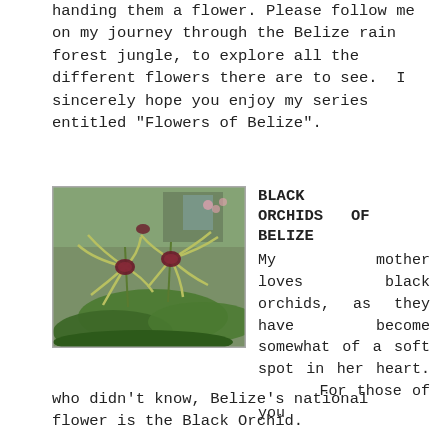handing them a flower. Please follow me on my journey through the Belize rain forest jungle, to explore all the different flowers there are to see. I sincerely hope you enjoy my series entitled "Flowers of Belize".
[Figure (photo): Photograph of Black Orchids of Belize – exotic green and dark maroon orchid flowers with long spidery petals growing among green foliage, photographed outdoors.]
BLACK ORCHIDS OF BELIZE
My mother loves black orchids, as they have become somewhat of a soft spot in her heart. For those of you who didn't know, Belize's national flower is the Black Orchid.